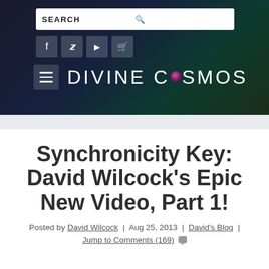[Figure (screenshot): Website header for Divine Cosmos with dark space background, search bar, social media icons (Facebook, Twitter, YouTube, cart), hamburger menu, and site logo text 'DIVINE COSMOS' with planet icon replacing 'O'.]
Synchronicity Key: David Wilcock's Epic New Video, Part 1!
Posted by David Wilcock | Aug 25, 2013 | David's Blog | Jump to Comments (169)